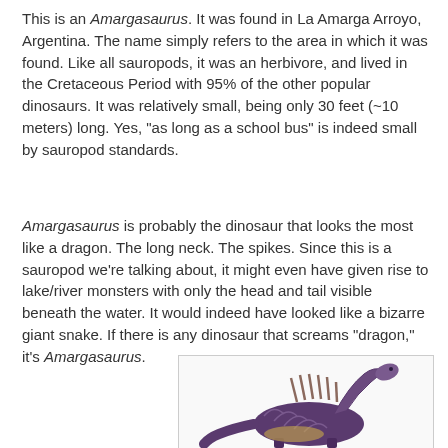This is an Amargasaurus. It was found in La Amarga Arroyo, Argentina. The name simply refers to the area in which it was found. Like all sauropods, it was an herbivore, and lived in the Cretaceous Period with 95% of the other popular dinosaurs. It was relatively small, being only 30 feet (~10 meters) long. Yes, "as long as a school bus" is indeed small by sauropod standards.
Amargasaurus is probably the dinosaur that looks the most like a dragon. The long neck. The spikes. Since this is a sauropod we're talking about, it might even have given rise to lake/river monsters with only the head and tail visible beneath the water. It would indeed have looked like a bizarre giant snake. If there is any dinosaur that screams "dragon," it's Amargasaurus.
[Figure (illustration): Illustration of an Amargasaurus dinosaur showing its distinctive spined back and long neck, depicted in purple/brown tones, partially cropped showing the upper body and neck]